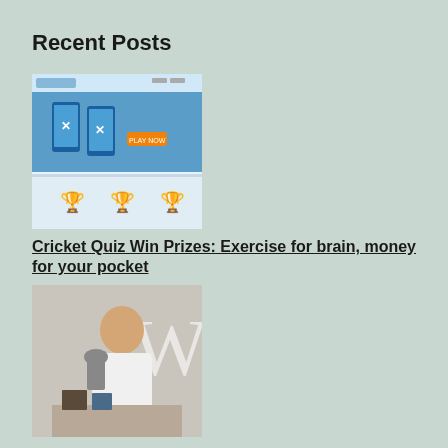Recent Posts
[Figure (screenshot): Screenshot of a cricket quiz website with mobile phones and prizes shown]
Cricket Quiz Win Prizes: Exercise for brain, money for your pocket
[Figure (photo): Kevin Pietersen at a book signing event, holding a trophy]
Fifty Shades Of Kevin Pietersen
[Figure (photo): Shahid Afridi batting in a cricket match]
Shahid Afridi: Boom Boom! Clap! Phus!
[Figure (photo): Cricket player in red uniform, partially visible]